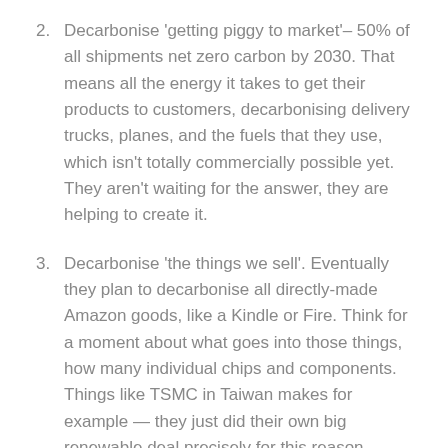2. Decarbonise ‘getting piggy to market’–– 50% of all shipments net zero carbon by 2030. That means all the energy it takes to get their products to customers, decarbonising delivery trucks, planes, and the fuels that they use, which isn’t totally commercially possible yet. They aren’t waiting for the answer, they are helping to create it.
3. Decarbonise ‘the things we sell’. Eventually they plan to decarbonise all directly-made Amazon goods, like a Kindle or Fire. Think for a moment about what goes into those things, how many individual chips and components. Things like TSMC in Taiwan makes for example — they just did their own big renewable deal precisely for this reason.
It is unclear yet if Amazon will ever require all products on their platforms from third party